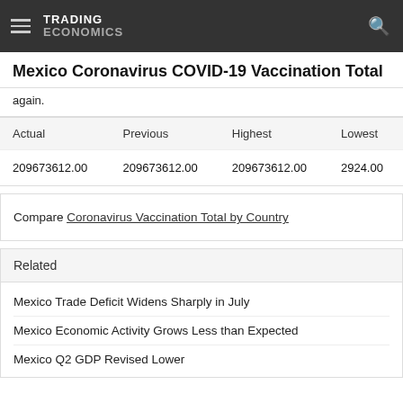TRADING ECONOMICS
Mexico Coronavirus COVID-19 Vaccination Total
again.
| Actual | Previous | Highest | Lowest |
| --- | --- | --- | --- |
| 209673612.00 | 209673612.00 | 209673612.00 | 2924.00 |
Compare Coronavirus Vaccination Total by Country
Related
Mexico Trade Deficit Widens Sharply in July
Mexico Economic Activity Grows Less than Expected
Mexico Q2 GDP Revised Lower